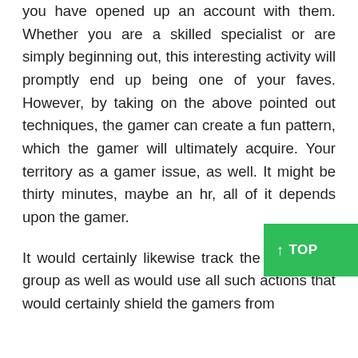you have opened up an account with them. Whether you are a skilled specialist or are simply beginning out, this interesting activity will promptly end up being one of your faves. However, by taking on the above pointed out techniques, the gamer can create a fun pattern, which the gamer will ultimately acquire. Your territory as a gamer issue, as well. It might be thirty minutes, maybe an hr, all of it depends upon the gamer.
It would certainly likewise track the monitoring group as well as would use all such actions that would certainly shield the gamers from